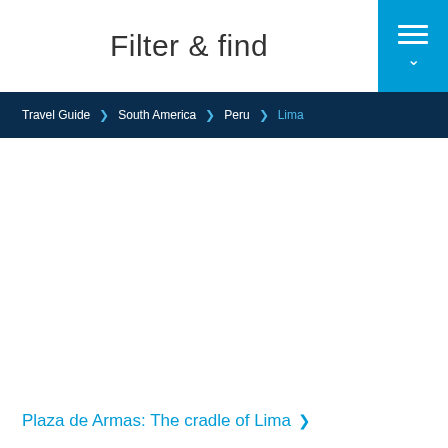Filter & find
Travel Guide › South America › Peru › Lima
[Figure (photo): Large photo of Plaza de Armas, Lima — appears mostly white/blank in this cropped view]
Plaza de Armas: The cradle of Lima